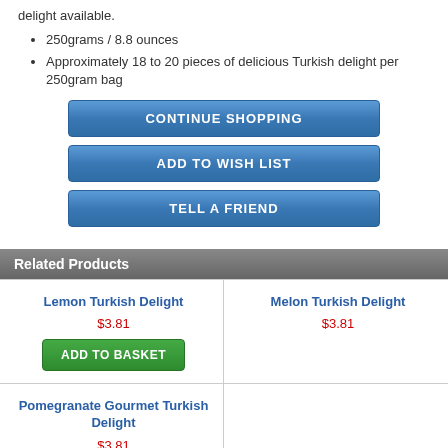delight available.
250grams / 8.8 ounces
Approximately 18 to 20 pieces of delicious Turkish delight per 250gram bag
CONTINUE SHOPPING
ADD TO WISH LIST
TELL A FRIEND
Related Products
Lemon Turkish Delight
$3.81
ADD TO BASKET
Melon Turkish Delight
$3.81
Pomegranate Gourmet Turkish Delight
$3.81